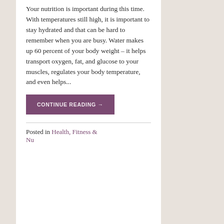Your nutrition is important during this time. With temperatures still high, it is important to stay hydrated and that can be hard to remember when you are busy. Water makes up 60 percent of your body weight – it helps transport oxygen, fat, and glucose to your muscles, regulates your body temperature, and even helps...
CONTINUE READING →
Posted in Health, Fitness & Nutrition